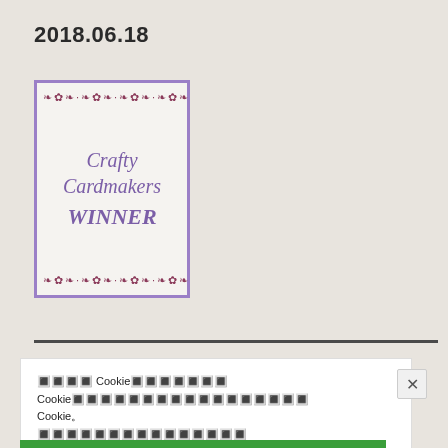2018.06.18
[Figure (illustration): Crafty Cardmakers WINNER badge with purple border, floral decorative bars at top and bottom, italic purple text reading 'Crafty Cardmakers WINNER' on a light background]
Cookie Cookie Cookie Cookie
Cookie Cookie Cookie 설정